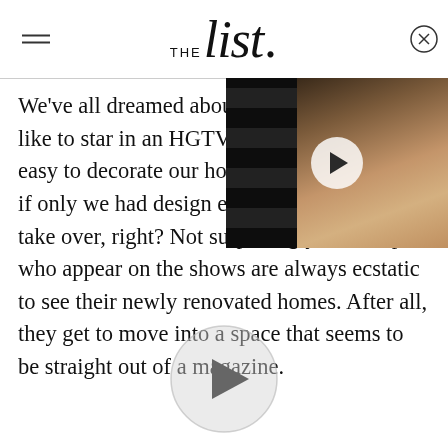THE list.
[Figure (photo): Video thumbnail showing a woman's face with earrings, with a play button overlay, positioned in the upper right corner of the article]
We've all dreamed about what it would be like to star in an HGTV show. It would be so easy to decorate our homes the way we want if only we had design experts and TV stars take over, right? Not surprisingly, the couples who appear on the shows are always ecstatic to see their newly renovated homes. After all, they get to move into a space that seems to be straight out of a magazine.
[Figure (other): Circular play button icon at the bottom center of the page]